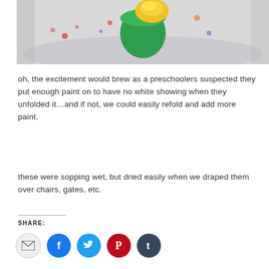[Figure (photo): Close-up photo of colorful paint-filled plastic cups or trays inside a clear plastic container, with green, yellow, red and blue paint visible]
oh, the excitement would brew as a preschoolers suspected they put enough paint on to have no white showing when they unfolded it…and if not, we could easily refold and add more paint.
these were sopping wet, but dried easily when we draped them over chairs, gates, etc.
SHARE: